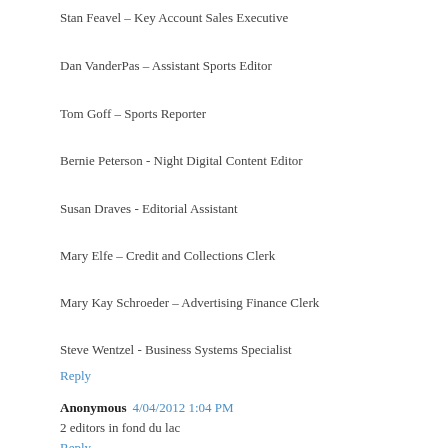Stan Feavel – Key Account Sales Executive
Dan VanderPas – Assistant Sports Editor
Tom Goff – Sports Reporter
Bernie Peterson - Night Digital Content Editor
Susan Draves - Editorial Assistant
Mary Elfe – Credit and Collections Clerk
Mary Kay Schroeder – Advertising Finance Clerk
Steve Wentzel - Business Systems Specialist
Reply
Anonymous  4/04/2012 1:04 PM
2 editors in fond du lac
Reply